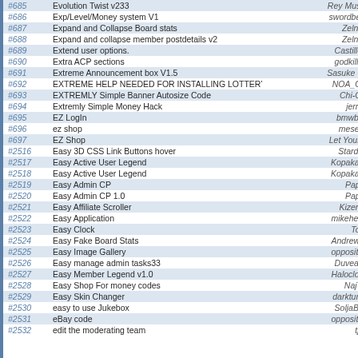| # | Title | Author |
| --- | --- | --- |
| #685 | Evolution Twist v233 | Rey Muste |
| #686 | Exp/Level/Money system V1 | swordbeta |
| #687 | Expand and Collapse Board stats | Zelnen |
| #688 | Expand and collapse member postdetails v2 | Zelnen |
| #689 | Extend user options. | CastilleV |
| #690 | Extra ACP sections | godkillah |
| #691 | Extreme Announcement box V1.5 | Sasuke Uc |
| #692 | EXTREME HELP NEEDED FOR INSTALLING LOTTERY | NOA_GR |
| #693 | EXTREMLY Simple Banner Autosize Code | Chi-Chi |
| #694 | Extremly Simple Money Hack | jerrod |
| #695 | EZ LogIn | bmwboy |
| #696 | ez shop | meselfs |
| #697 | EZ Shop | Let Your F |
| #2516 | Easy 3D CSS Link Buttons hover | Stardog |
| #2517 | Easy Active User Legend | Kopaka N |
| #2518 | Easy Active User Legend | Kopaka N |
| #2519 | Easy Admin CP | Paper |
| #2520 | Easy Admin CP 1.0 | Paper |
| #2521 | Easy Affiliate Scroller | Kizeraa |
| #2522 | Easy Application | mikehead |
| #2523 | Easy Clock | Torn |
| #2524 | Easy Fake Board Stats | Andrew K |
| #2525 | Easy Image Gallery | oppositea |
| #2526 | Easy manage admin tasks33 | Duveaux |
| #2527 | Easy Member Legend v1.0 | Haloclock |
| #2528 | Easy Shop For money codes | NajTB |
| #2529 | Easy Skin Changer | darkturke |
| #2530 | easy to use Jukebox | SoljaBoy |
| #2531 | eBay code | oppositea |
| #2532 | edit the moderating team | tjajj |